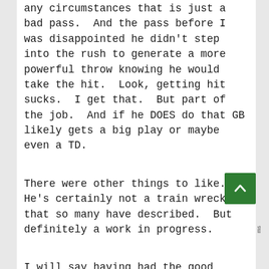any circumstances that is just a bad pass.  And the pass before I was disappointed he didn't step into the rush to generate a more powerful throw knowing he would take the hit.  Look, getting hit sucks.  I get that.  But part of the job.  And if he DOES do that GB likely gets a big play or maybe even a TD.
There were other things to like.  He's certainly not a train wreck that so many have described.  But definitely a work in progress.
I will say having had the good fortune to see Favre and Rodgers enter the league there was no sense of 'something'.  With both those guys you could tell there was 'something'.  Yes, really